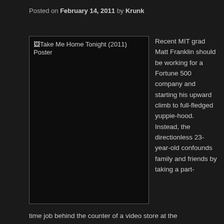Posted on February 14, 2011 by Krunk
[Figure (photo): Take Me Home Tonight (2011) Poster — broken image placeholder showing alt text]
Recent MIT grad Matt Franklin should be working for a Fortune 500 company and starting his upward climb to full-fledged yuppie-hood. Instead, the directionless 23-year-old confounds family and friends by taking a part-time job behind the counter of a video store at the